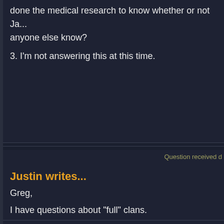(There are other Gargoyles out there besides eastern... done the medical research to know whether or not Ja... anyone else know?
3. I'm not answering this at this time.
Question received d
Justin writes...
Greg,
I have questions about "full" clans.
1) Now a full clan in definition is a group with commo... clans ever reach a setup where not every gargoyle k... say 500,000 members?
2) Will the Manhattan clan ever exceed a population
3) If three is yes than will some eventually move into
thanks